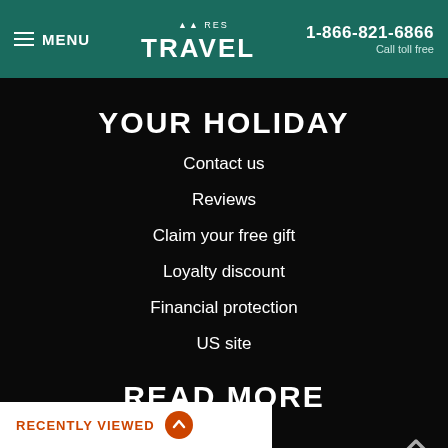MENU | RESPONSIBLE TRAVEL | 1-866-821-6866 Call toll free
YOUR HOLIDAY
Contact us
Reviews
Claim your free gift
Loyalty discount
Financial protection
US site
READ MORE
Blog
ter sign up
RECENTLY VIEWED